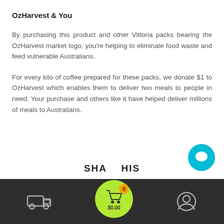OzHarvest & You
By purchasing this product and other Vittoria packs bearing the OzHarvest market logo, you're helping to eliminate food waste and feed vulnerable Australians.
For every kilo of coffee prepared for these packs, we donate $1 to OzHarvest which enables them to deliver two meals to people in need. Your purchase and others like it have helped deliver millions of meals to Australians.
SHARE THIS
[Figure (screenshot): Bottom navigation bar with delivery truck icon on left, green circular cart button with badge showing 0 and $0.00 in center, user/account icon on right, on dark background]
[Figure (other): Teal circular chat/message button in bottom right corner]